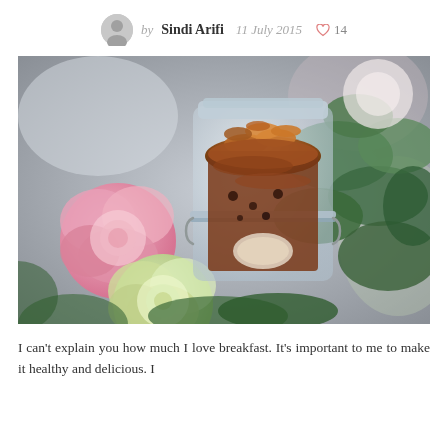by Sindi Arifi  11 July 2015  ♡ 14
[Figure (photo): A glass mason jar filled with granola/muesli, surrounded by pink and white/green ranunculus flowers and green foliage, photographed from a slightly elevated angle with a soft blurred background.]
I can't explain you how much I love breakfast. It's important to me to make it healthy and delicious. I